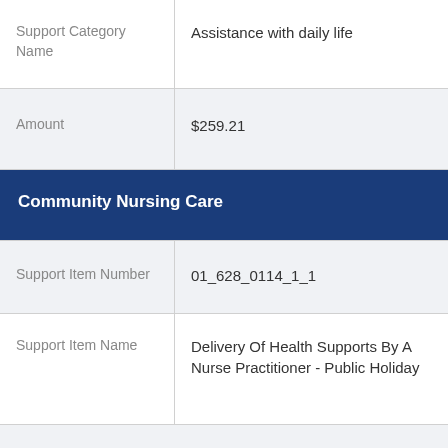| Support Category Name | Assistance with daily life |
| Amount | $259.21 |
| Community Nursing Care |  |
| Support Item Number | 01_628_0114_1_1 |
| Support Item Name | Delivery Of Health Supports By A Nurse Practitioner - Public Holiday |